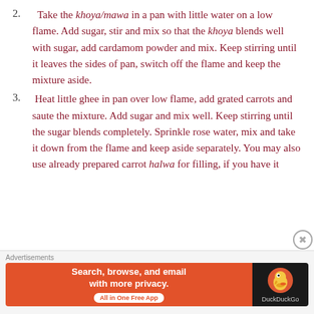2. Take the khoya/mawa in a pan with little water on a low flame. Add sugar, stir and mix so that the khoya blends well with sugar, add cardamom powder and mix. Keep stirring until it leaves the sides of pan, switch off the flame and keep the mixture aside.
3. Heat little ghee in pan over low flame, add grated carrots and saute the mixture. Add sugar and mix well. Keep stirring until the sugar blends completely. Sprinkle rose water, mix and take it down from the flame and keep aside separately. You may also use already prepared carrot halwa for filling, if you have it
Advertisements
[Figure (other): DuckDuckGo advertisement banner: Search, browse, and email with more privacy. All in One Free App. Features DuckDuckGo duck logo on dark background.]